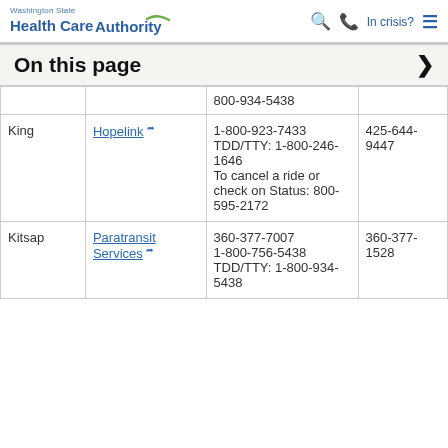Washington State Health Care Authority — In crisis? [navigation icons]
On this page
| County | Provider | Phone | Fax |
| --- | --- | --- | --- |
|  |  | 800-934-5438 |  |
| King | Hopelink | 1-800-923-7433 TDD/TTY: 1-800-246-1646 To cancel a ride or check on Status: 800-595-2172 | 425-644-9447 |
| Kitsap | Paratransit Services | 360-377-7007 1-800-756-5438 TDD/TTY: 1-800-934-5438 | 360-377-1528 |